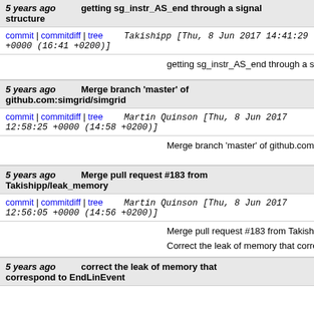5 years ago   getting sg_instr_AS_end through a signal structure
commit | commitdiff | tree   Takishipp [Thu, 8 Jun 2017 14:41:29 +0000 (16:41 +0200)]
getting sg_instr_AS_end through a signal structure
5 years ago   Merge branch 'master' of github.com:simgrid/simgrid
commit | commitdiff | tree   Martin Quinson [Thu, 8 Jun 2017 12:58:25 +0000 (14:58 +0200)]
Merge branch 'master' of github.com:simgrid/simgrid
5 years ago   Merge pull request #183 from Takishipp/leak_memory
commit | commitdiff | tree   Martin Quinson [Thu, 8 Jun 2017 12:56:05 +0000 (14:56 +0200)]
Merge pull request #183 from Takishipp/leak_memory
Correct the leak of memory that correspond to EndLinEvent
5 years ago   correct the leak of memory that correspond to EndLinEvent